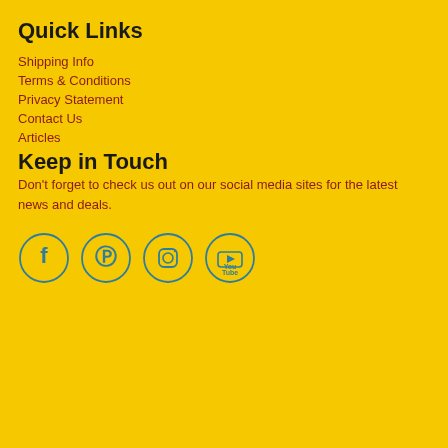Quick Links
Shipping Info
Terms & Conditions
Privacy Statement
Contact Us
Articles
Keep in Touch
Don't forget to check us out on our social media sites for the latest news and deals.
[Figure (infographic): Four social media icons in circles: Facebook, Pinterest, Instagram, YouTube]